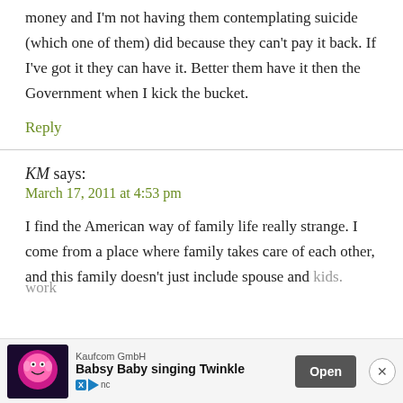money and I'm not having them contemplating suicide (which one of them) did because they can't pay it back. If I've got it they can have it. Better them have it then the Government when I kick the bucket.
Reply
KM says:
March 17, 2011 at 4:53 pm
I find the American way of family life really strange. I come from a place where family takes care of each other, and this family doesn't just include spouse and kids.
[Figure (screenshot): Mobile advertisement banner for 'Babsy Baby singing Twinkle' by Kaufcom GmbH with an Open button and close button]